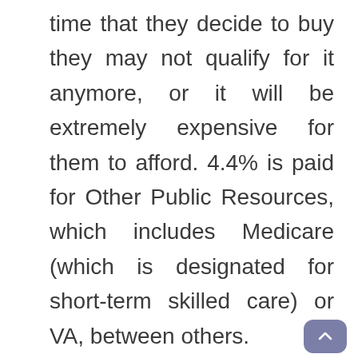time that they decide to buy they may not qualify for it anymore, or it will be extremely expensive for them to afford. 4.4% is paid for Other Public Resources, which includes Medicare (which is designated for short-term skilled care) or VA, between others.